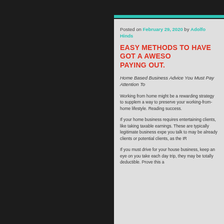Posted on February 29, 2020 by Adolfo Hinds
EASY METHODS TO HAVE GOT A AWESOME PAYING OUT.
Home Based Business Advice You Must Pay Attention To
Working from home might be a rewarding strategy to supplement your income or find a way to preserve your working-from-home lifestyle. Reading success.
If your home business requires entertaining clients, like taking them to lunch, deduct these expenses from your taxable earnings. These are typically legitimate business expenses. Ensure that the people you talk to may be already clients or potential clients, as the IR
If you must drive for your house business, keep an eye on you take each day trip, they may be totally deductible. Prove this a